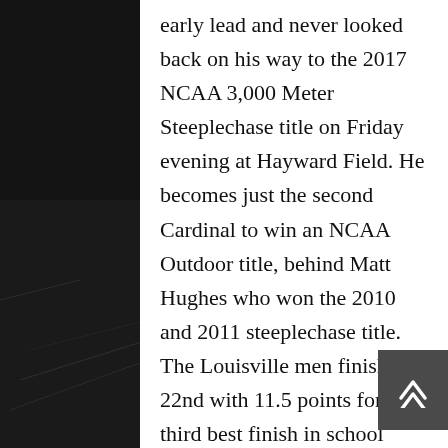early lead and never looked back on his way to the 2017 NCAA 3,000 Meter Steeplechase title on Friday evening at Hayward Field. He becomes just the second Cardinal to win an NCAA Outdoor title, behind Matt Hughes who won the 2010 and 2011 steeplechase title. The Louisville men finished 22nd with 11.5 points for the third best finish in school history.

“Edwin was simply amazing in the steeplechase today,” said head coach Dale Cowper. “He controlled the race